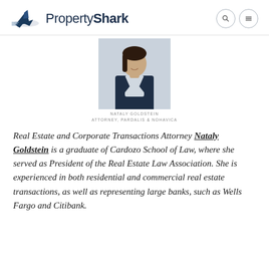PropertyShark
[Figure (photo): Professional headshot of Nataly Goldstein, a woman in a navy blazer against a light background]
NATALY GOLDSTEIN
ATTORNEY, PARDALIS & NOHAVICA
Real Estate and Corporate Transactions Attorney Nataly Goldstein is a graduate of Cardozo School of Law, where she served as President of the Real Estate Law Association. She is experienced in both residential and commercial real estate transactions, as well as representing large banks, such as Wells Fargo and Citibank.